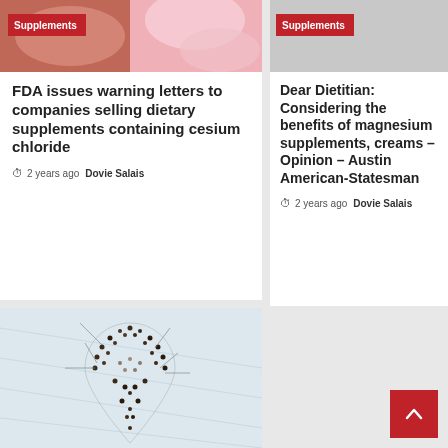[Figure (photo): Supplements category image – food/supplement items in pink/red tones]
FDA issues warning letters to companies selling dietary supplements containing cesium chloride
2 years ago  Dovie Salais
[Figure (photo): Supplements category image – gray/light background]
Dear Dietitian: Considering the benefits of magnesium supplements, creams – Opinion – Austin American-Statesman
2 years ago  Dovie Salais
[Figure (photo): Aerial view of people arranged in the shape of a map location pin on a white surface]